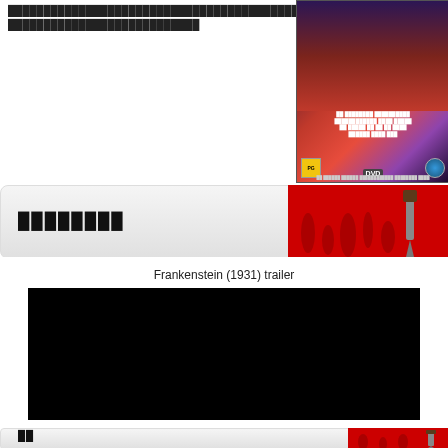██████████████████████████████████████████████████████ ███████████████████████████
[Figure (photo): DVD cover of Frankenstein movie, dark purple/red background with monster face, showing PG badge, DVD logo, and film title text]
[Figure (infographic): Section banner with gradient gray background, bold block text on left, blood drip red decoration with knife on right side]
Frankenstein (1931) trailer
[Figure (screenshot): Black video player rectangle representing embedded Frankenstein 1931 trailer video]
[Figure (infographic): Second section banner with gradient gray background, bold block text on left, blood drip red decoration with knife on right side, partially visible at bottom]